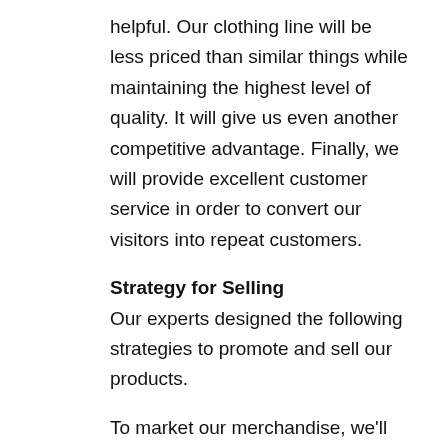helpful. Our clothing line will be less priced than similar things while maintaining the highest level of quality. It will give us even another competitive advantage. Finally, we will provide excellent customer service in order to convert our visitors into repeat customers.
Strategy for Selling
Our experts designed the following strategies to promote and sell our products.
To market our merchandise, we'll employ both print and social media.
We will allow our customers to buy our